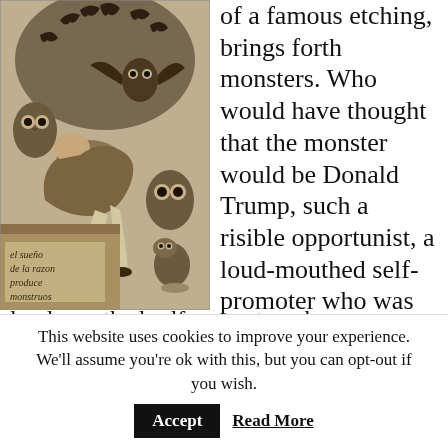[Figure (illustration): Goya etching 'The Sleep of Reason Produces Monsters' — a figure slumped over a desk surrounded by owls, bats, and a cat, with inscription 'el sueño de la razon produce monstruos']
of a famous etching, brings forth monsters. Who would have thought that the monster would be Donald Trump, such a risible opportunist, a loud-mouthed self-promoter who was as surprised as anyone else to find himself with a
This website uses cookies to improve your experience. We'll assume you're ok with this, but you can opt-out if you wish.
Accept
Read More